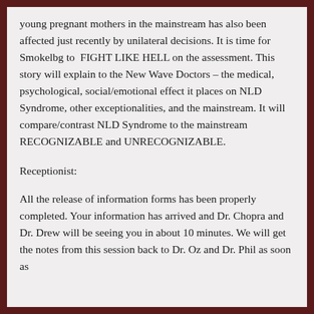young pregnant mothers in the mainstream has also been affected just recently by unilateral decisions. It is time for Smokelbg to FIGHT LIKE HELL on the assessment. This story will explain to the New Wave Doctors – the medical, psychological, social/emotional effect it places on NLD Syndrome, other exceptionalities, and the mainstream. It will compare/contrast NLD Syndrome to the mainstream RECOGNIZABLE and UNRECOGNIZABLE.
Receptionist:
All the release of information forms has been properly completed. Your information has arrived and Dr. Chopra and Dr. Drew will be seeing you in about 10 minutes. We will get the notes from this session back to Dr. Oz and Dr. Phil as soon as